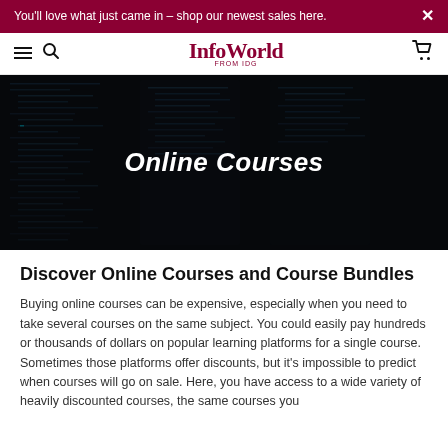You'll love what just came in – shop our newest sales here. ×
[Figure (logo): InfoWorld logo with tagline 'FROM IDG', navigation icons including hamburger menu, search, and shopping cart]
[Figure (photo): Dark background showing code editor / IDE with terminal windows displaying programming code, with 'Online Courses' text overlay in italic bold white]
Online Courses
Discover Online Courses and Course Bundles
Buying online courses can be expensive, especially when you need to take several courses on the same subject. You could easily pay hundreds or thousands of dollars on popular learning platforms for a single course. Sometimes those platforms offer discounts, but it's impossible to predict when courses will go on sale. Here, you have access to a wide variety of heavily discounted courses, the same courses you